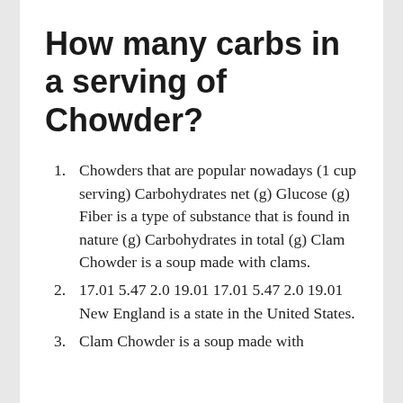How many carbs in a serving of Chowder?
Chowders that are popular nowadays (1 cup serving) Carbohydrates net (g) Glucose (g) Fiber is a type of substance that is found in nature (g) Carbohydrates in total (g) Clam Chowder is a soup made with clams.
17.01 5.47 2.0 19.01 17.01 5.47 2.0 19.01 New England is a state in the United States.
Clam Chowder is a soup made with